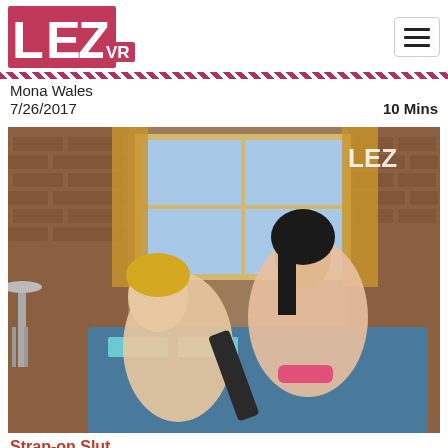LEZ VR
Mona Wales
7/26/2017    10 Mins
[Figure (photo): Two women in an intimate scene on a couch in a room with brick walls and curtained windows, with a LEZ VR watermark visible.]
Strap-on Slut